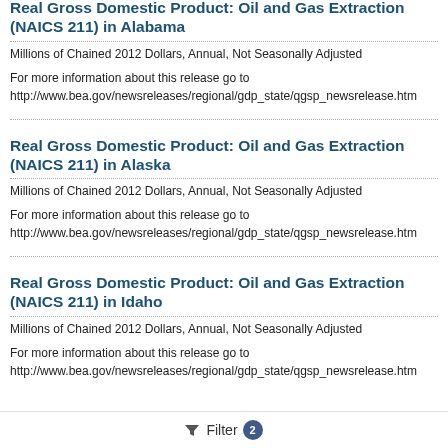Real Gross Domestic Product: Oil and Gas Extraction (NAICS 211) in Alabama
Millions of Chained 2012 Dollars, Annual, Not Seasonally Adjusted
For more information about this release go to http://www.bea.gov/newsreleases/regional/gdp_state/qgsp_newsrelease.htm
Real Gross Domestic Product: Oil and Gas Extraction (NAICS 211) in Alaska
Millions of Chained 2012 Dollars, Annual, Not Seasonally Adjusted
For more information about this release go to http://www.bea.gov/newsreleases/regional/gdp_state/qgsp_newsrelease.htm
Real Gross Domestic Product: Oil and Gas Extraction (NAICS 211) in Idaho
Millions of Chained 2012 Dollars, Annual, Not Seasonally Adjusted
For more information about this release go to http://www.bea.gov/newsreleases/regional/gdp_state/qgsp_newsrelease.htm
Filter 2